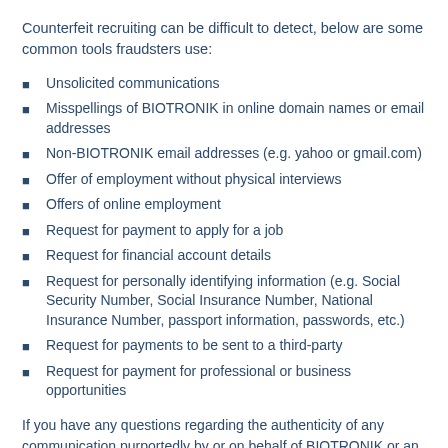Counterfeit recruiting can be difficult to detect, below are some common tools fraudsters use:
Unsolicited communications
Misspellings of BIOTRONIK in online domain names or email addresses
Non-BIOTRONIK email addresses (e.g. yahoo or gmail.com)
Offer of employment without physical interviews
Offers of online employment
Request for payment to apply for a job
Request for financial account details
Request for personally identifying information (e.g. Social Security Number, Social Insurance Number, National Insurance Number, passport information, passwords, etc.)
Request for payments to be sent to a third-party
Request for payment for professional or business opportunities
If you have any questions regarding the authenticity of any communication purportedly by or on behalf of BIOTRONIK or an